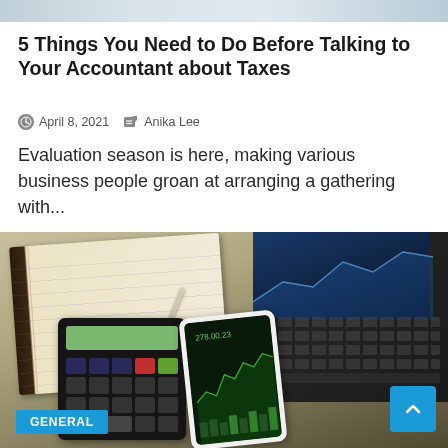[Figure (photo): Top portion of a photo showing a desk scene cropped at the top of the page]
5 Things You Need to Do Before Talking to Your Accountant about Taxes
April 8, 2021   Anika Lee
Evaluation season is here, making various business people groan at arranging a gathering with...
[Figure (photo): Photo of a desk with an open notebook, calculator, smartphone showing a stock chart, and a laptop computer]
GENERAL